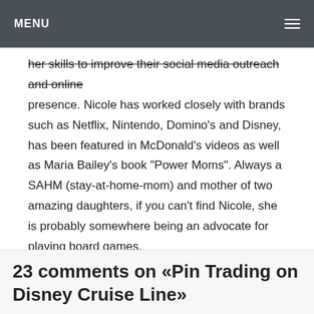MENU
her skills to improve their social media outreach and online presence. Nicole has worked closely with brands such as Netflix, Nintendo, Domino's and Disney, has been featured in McDonald's videos as well as Maria Bailey's book "Power Moms". Always a SAHM (stay-at-home-mom) and mother of two amazing daughters, if you can't find Nicole, she is probably somewhere being an advocate for playing board games.
View all posts by Nicole Brady →
23 comments on «Pin Trading on Disney Cruise Line»
MARCH 12, 2017 AT 11:53 AM
Really cool! I didn't know they did that. I